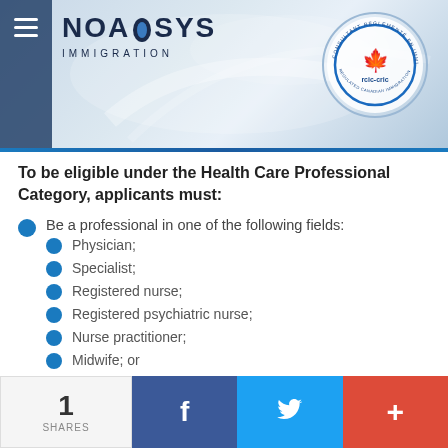[Figure (logo): Noasys Immigration logo with RCIC-CRIC badge on a blue gradient banner with hamburger menu icon]
To be eligible under the Health Care Professional Category, applicants must:
Be a professional in one of the following fields:
Physician;
Specialist;
Registered nurse;
Registered psychiatric nurse;
Nurse practitioner;
Midwife; or
[partially visible social share bar overlaid]